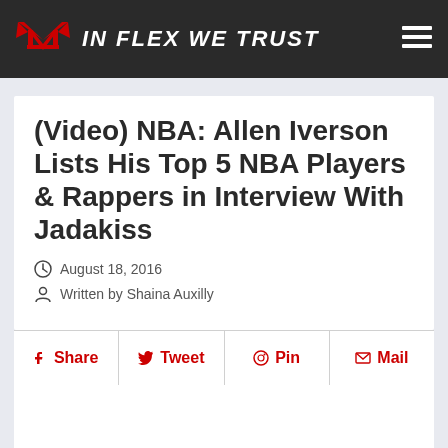IN FLEX WE TRUST
(Video) NBA: Allen Iverson Lists His Top 5 NBA Players & Rappers in Interview With Jadakiss
August 18, 2016
Written by Shaina Auxilly
Share  Tweet  Pin  Mail